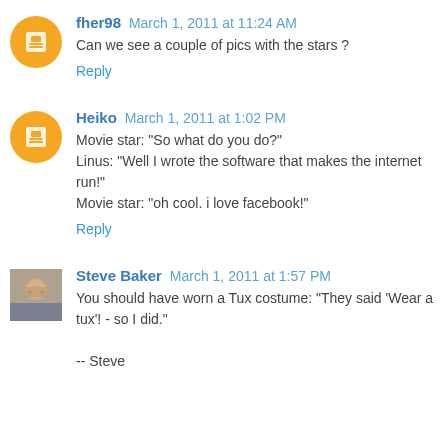fher98 March 1, 2011 at 11:24 AM
Can we see a couple of pics with the stars ?
Reply
Heiko March 1, 2011 at 1:02 PM
Movie star: "So what do you do?"
Linus: "Well I wrote the software that makes the internet run!"
Movie star: "oh cool. i love facebook!"
Reply
Steve Baker March 1, 2011 at 1:57 PM
You should have worn a Tux costume: "They said 'Wear a tux'! - so I did."

-- Steve